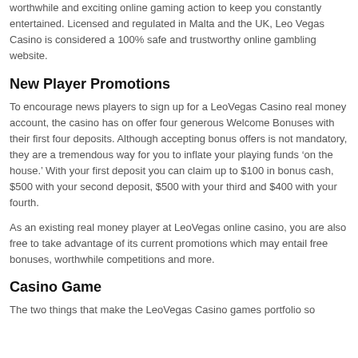worthwhile and exciting online gaming action to keep you constantly entertained. Licensed and regulated in Malta and the UK, Leo Vegas Casino is considered a 100% safe and trustworthy online gambling website.
New Player Promotions
To encourage news players to sign up for a LeoVegas Casino real money account, the casino has on offer four generous Welcome Bonuses with their first four deposits. Although accepting bonus offers is not mandatory, they are a tremendous way for you to inflate your playing funds ‘on the house.’ With your first deposit you can claim up to $100 in bonus cash, $500 with your second deposit, $500 with your third and $400 with your fourth.
As an existing real money player at LeoVegas online casino, you are also free to take advantage of its current promotions which may entail free bonuses, worthwhile competitions and more.
Casino Game
The two things that make the LeoVegas Casino games portfolio so